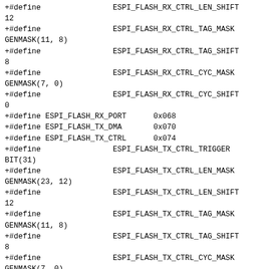+#define                ESPI_FLASH_RX_CTRL_LEN_SHIFT
12
+#define                ESPI_FLASH_RX_CTRL_TAG_MASK
GENMASK(11, 8)
+#define                ESPI_FLASH_RX_CTRL_TAG_SHIFT
8
+#define                ESPI_FLASH_RX_CTRL_CYC_MASK
GENMASK(7, 0)
+#define                ESPI_FLASH_RX_CTRL_CYC_SHIFT
0
+#define ESPI_FLASH_RX_PORT      0x068
+#define ESPI_FLASH_TX_DMA       0x070
+#define ESPI_FLASH_TX_CTRL      0x074
+#define                ESPI_FLASH_TX_CTRL_TRIGGER
BIT(31)
+#define                ESPI_FLASH_TX_CTRL_LEN_MASK
GENMASK(23, 12)
+#define                ESPI_FLASH_TX_CTRL_LEN_SHIFT
12
+#define                ESPI_FLASH_TX_CTRL_TAG_MASK
GENMASK(11, 8)
+#define                ESPI_FLASH_TX_CTRL_TAG_SHIFT
8
+#define                ESPI_FLASH_TX_CTRL_CYC_MASK
GENMASK(7, 0)
+#define                ESPI_FLASH_TX_CTRL_CYC_SHIFT
0
+#define ESPI_FLASH_TX_PORT      0x078
+#define ESPI_CTRL2              0x080
+#define   ESPI_CTRL2_MEMCYC_RD_DIS              BIT(6)